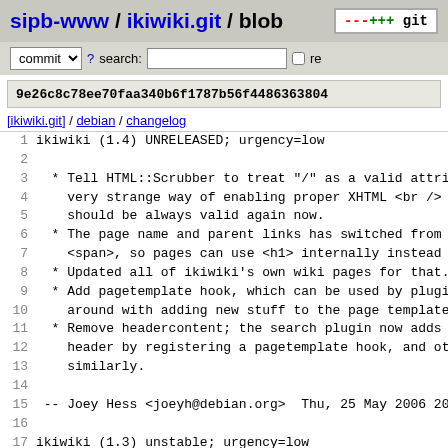sipb-www / ikiwiki.git / blob
commit ? search: re
9e26c8c78ee70faa340b6f1787b56f4486363804
[ikiwiki.git] / debian / changelog
1  ikiwiki (1.4) UNRELEASED; urgency=low
2
3   * Tell HTML::Scrubber to treat "/" as a valid attribu
4     very strange way of enabling proper XHTML <br /> ty
5     should be always valid again now.
6   * The page name and parent links has switched from us
7     <span>, so pages can use <h1> internally instead of
8   * Updated all of ikiwiki's own wiki pages for that.
9   * Add pagetemplate hook, which can be used by plugins
10    around with adding new stuff to the page template.
11  * Remove headercontent; the search plugin now adds th
12    header by registering a pagetemplate hook, and othe
13    similarly.
14
15  -- Joey Hess <joeyh@debian.org>  Thu, 25 May 2006 20:5
16
17 ikiwiki (1.3) unstable; urgency=low
18
19  * Fix the preinst introduced in the last version. Clo
20
21